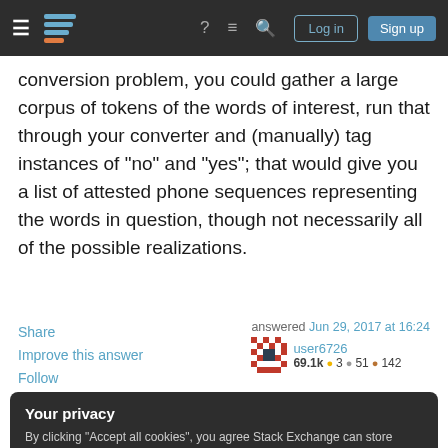Stack Exchange navigation bar with hamburger menu, logo, help, chat, search icons, Log in and Sign up buttons
conversion problem, you could gather a large corpus of tokens of the words of interest, run that through your converter and (manually) tag instances of "no" and "yes"; that would give you a list of attested phone sequences representing the words in question, though not necessarily all of the possible realizations.
Share
Improve this answer
Follow

answered Jun 29, 2017 at 16:24
user6726
69.1k ● 3 ● 51 ● 142
Your privacy
By clicking "Accept all cookies", you agree Stack Exchange can store cookies on your device and disclose information in accordance with our Cookie Policy.
Accept all cookies    Customize settings
should be an issue. i am currently somewhat able to